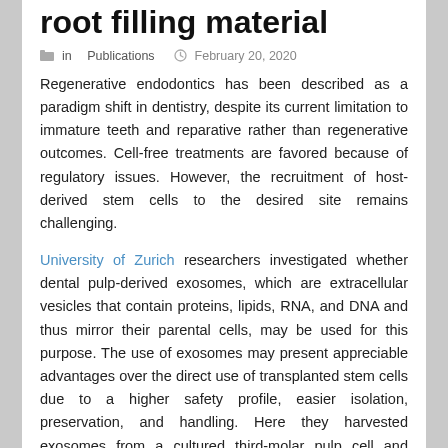root filling material
in Publications   February 20, 2020
Regenerative endodontics has been described as a paradigm shift in dentistry, despite its current limitation to immature teeth and reparative rather than regenerative outcomes. Cell-free treatments are favored because of regulatory issues. However, the recruitment of host-derived stem cells to the desired site remains challenging.
University of Zurich researchers investigated whether dental pulp-derived exosomes, which are extracellular vesicles that contain proteins, lipids, RNA, and DNA and thus mirror their parental cells, may be used for this purpose. The use of exosomes may present appreciable advantages over the direct use of transplanted stem cells due to a higher safety profile, easier isolation, preservation, and handling. Here they harvested exosomes from a cultured third-molar pulp cell and assessed them by transmission electron microscopy and Western blotting. Human mesenchymal stem cells (MSCs)